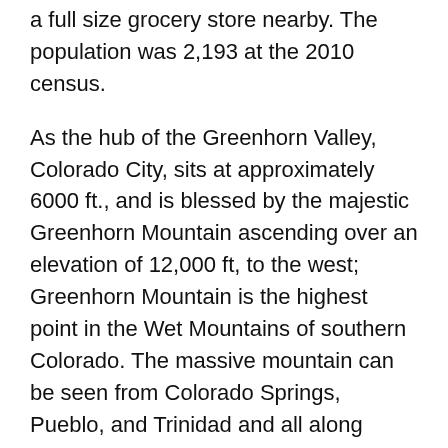a full size grocery store nearby. The population was 2,193 at the 2010 census.
As the hub of the Greenhorn Valley, Colorado City, sits at approximately 6000 ft., and is blessed by the majestic Greenhorn Mountain ascending over an elevation of 12,000 ft, to the west; Greenhorn Mountain is the highest point in the Wet Mountains of southern Colorado. The massive mountain can be seen from Colorado Springs, Pueblo, and Trinidad and all along Interstate 25 rising nearly 7,000 feet above the surrounding area. Pikes Peak sits to the North and the Spanish Peaks sit in the south.
Colorado City is visited yearly by